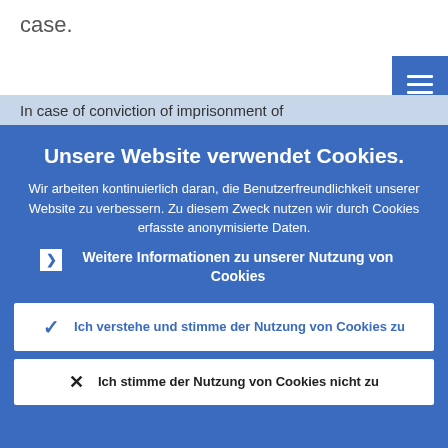case.
In case of conviction of imprisonment of
Unsere Website verwendet Cookies.
Wir arbeiten kontinuierlich daran, die Benutzerfreundlichkeit unserer Website zu verbessern. Zu diesem Zweck nutzen wir durch Cookies erfasste anonymisierte Daten.
Weitere Informationen zu unserer Nutzung von Cookies
Ich verstehe und stimme der Nutzung von Cookies zu
Ich stimme der Nutzung von Cookies nicht zu